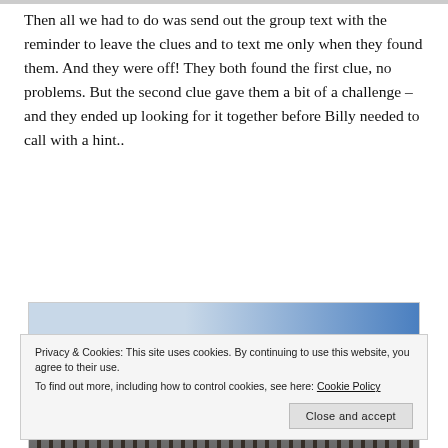Then all we had to do was send out the group text with the reminder to leave the clues and to text me only when they found them. And they were off! They both found the first clue, no problems. But the second clue gave them a bit of a challenge – and they ended up looking for it together before Billy needed to call with a hint..
[Figure (photo): Outdoor winter scene showing sky with clouds (blue and grey) on top and bare trees silhouetted below]
Privacy & Cookies: This site uses cookies. By continuing to use this website, you agree to their use. To find out more, including how to control cookies, see here: Cookie Policy
Close and accept